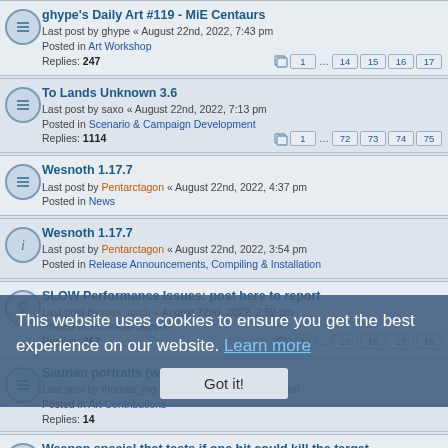ghype's Daily Art #119 - MiE Centaurs | Last post by ghype « August 22nd, 2022, 7:43 pm | Posted in Art Workshop | Replies: 247 | Pages: 1 ... 14 15 16 17
To Lands Unknown 3.6 | Last post by saxo « August 22nd, 2022, 7:13 pm | Posted in Scenario & Campaign Development | Replies: 1114 | Pages: 1 ... 72 73 74 75
Wesnoth 1.17.7 | Last post by Pentarctagon « August 22nd, 2022, 4:37 pm | Posted in News
Wesnoth 1.17.7 | Last post by Pentarctagon « August 22nd, 2022, 3:54 pm | Posted in Release Announcements, Compiling & Installation
SLOW Performance Issues: post here to report | Last post by max_torch « August 22nd, 2022, 2:52 pm | Posted in Technical Support | Replies: 262 | Pages: 1 ... 15 16 17 18
Saurian portraits (wip) | Last post by thomas_mg « August 22nd, 2022, 2:28 am | Posted in Art Contributions | Replies: 14
Weapon special that tests if one hit could kill the target | Last post by MyrddinEmrys « August 21st, 2022, 11:11 pm | Posted in WML Workshop | Replies: 2
Axioms Of Dominion: Now With Multi-Threading
This website uses cookies to ensure you get the best experience on our website. Learn more
Got it!